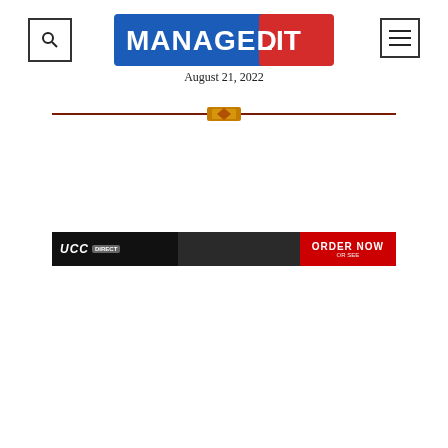[Figure (logo): Managed.IT logo — white text on blue and red background with bold stylized font]
August 21, 2022
[Figure (illustration): Horizontal decorative divider line with ornamental center icon in dark red and gold tones]
[Figure (photo): UCC advertisement banner. Left side shows 'UCC' logo text with a badge on dark background with a person's image. Right side shows red panel with 'ORDER NOW' text.]